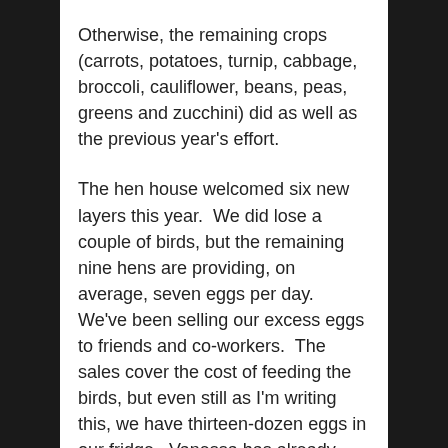Otherwise, the remaining crops (carrots, potatoes, turnip, cabbage, broccoli, cauliflower, beans, peas, greens and zucchini) did as well as the previous year's effort.
The hen house welcomed six new layers this year.  We did lose a couple of birds, but the remaining nine hens are providing, on average, seven eggs per day.  We've been selling our excess eggs to friends and co-workers.  The sales cover the cost of feeding the birds, but even still as I'm writing this, we have thirteen-dozen eggs in our fridge.  Vanessa has already frozen a couple dozen eggs for baking (yes, that's do-able) and I'll be pickling a couple dozen this weekend.  No, I've never had a pickled egg, but a co-worker of mine suggested